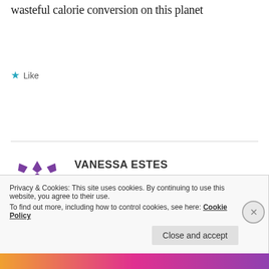wasteful calorie conversion on this planet
★ Like
VANESSA ESTES
July 28, 2018 at 5:11 am
Misinformed vegans are funny.
★ Like
Privacy & Cookies: This site uses cookies. By continuing to use this website, you agree to their use.
To find out more, including how to control cookies, see here: Cookie Policy
Close and accept